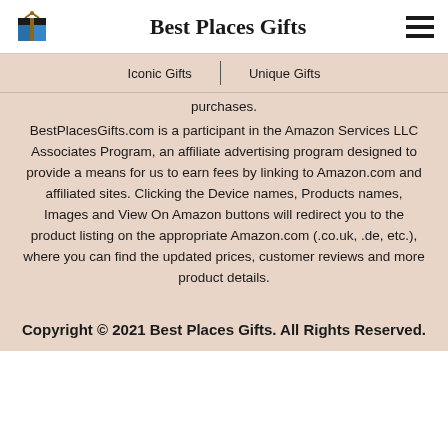Best Places Gifts
Iconic Gifts | Unique Gifts
purchases. BestPlacesGifts.com is a participant in the Amazon Services LLC Associates Program, an affiliate advertising program designed to provide a means for us to earn fees by linking to Amazon.com and affiliated sites. Clicking the Device names, Products names, Images and View On Amazon buttons will redirect you to the product listing on the appropriate Amazon.com (.co.uk, .de, etc.), where you can find the updated prices, customer reviews and more product details.
Copyright © 2021 Best Places Gifts. All Rights Reserved.